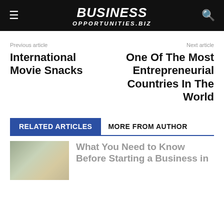BUSINESS OPPORTUNITIES.BIZ
Previous article
International Movie Snacks
Next article
One Of The Most Entrepreneurial Countries In The World
RELATED ARTICLES
MORE FROM AUTHOR
What You Need to Know Before Starting a Business in